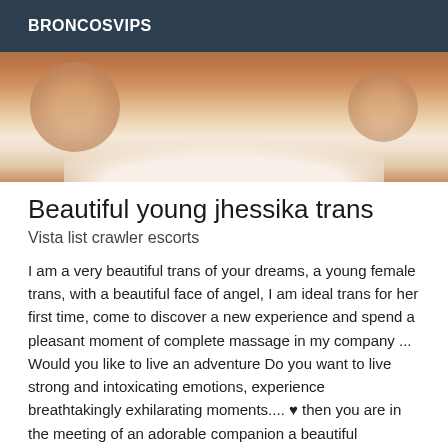BRONCOSVIPS
[Figure (photo): Close-up photo of a person's torso/chest area with warm skin tones against a light background]
Beautiful young jhessika trans
Vista list crawler escorts
I am a very beautiful trans of your dreams, a young female trans, with a beautiful face of angel, I am ideal trans for her first time, come to discover a new experience and spend a pleasant moment of complete massage in my company ... Would you like to live an adventure Do you want to live strong and intoxicating emotions, experience breathtakingly exhilarating moments.... ♥ then you are in the meeting of an adorable companion a beautiful independent girl...... Sublime beauty, delicious, beautiful, charming, attractive, caring and very feminine. no telf. fixed ,no meok, no SMS call me.I I have all my clothes pretty latex